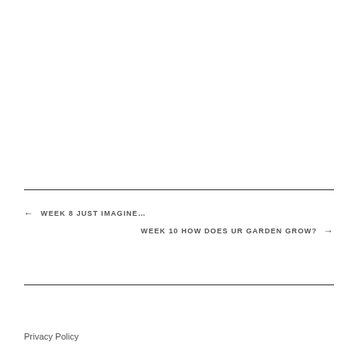← WEEK 8 JUST IMAGINE…
WEEK 10 HOW DOES UR GARDEN GROW? →
Privacy Policy